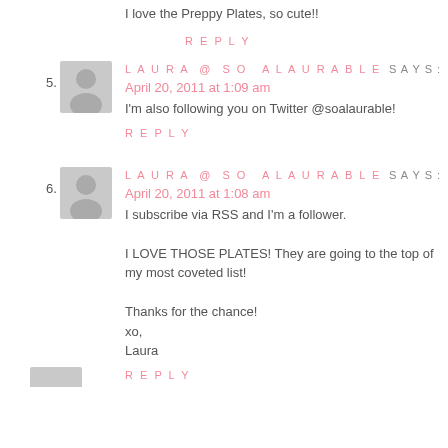I love the Preppy Plates, so cute!!
REPLY
5. LAURA @ SO ALAURABLE SAYS:
April 20, 2011 at 1:09 am
I'm also following you on Twitter @soalaurable!
REPLY
6. LAURA @ SO ALAURABLE SAYS:
April 20, 2011 at 1:08 am
I subscribe via RSS and I'm a follower.

I LOVE THOSE PLATES! They are going to the top of my most coveted list!

Thanks for the chance!
xo,
Laura
REPLY